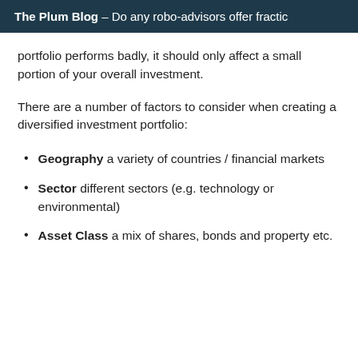The Plum Blog – Do any robo-advisors offer fractio
portfolio performs badly, it should only affect a small portion of your overall investment.
There are a number of factors to consider when creating a diversified investment portfolio:
Geography a variety of countries / financial markets
Sector different sectors (e.g. technology or environmental)
Asset Class a mix of shares, bonds and property etc.